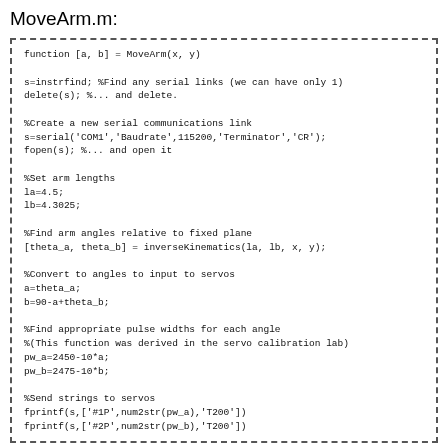MoveArm.m:
function [a, b] = MoveArm(x, y)

s=instrfind; %Find any serial links (we can have only 1)
delete(s); %... and delete.

%Create a new serial communications link
s=serial('COM1','Baudrate',115200,'Terminator','CR');
fopen(s); %... and open it

%Set arm lengths
la=4.5;
lb=4.3025;

%Find arm angles relative to fixed plane
[theta_a, theta_b] = inverseKinematics(la, lb, x, y);

%Convert to angles to input to servos
a=theta_a;
b=90-a+theta_b;

%Find appropriate pulse widths for each angle
%(This function was derived in the servo calibration lab)
pw_a=2450-10*a;
pw_b=2475-10*b;

%Send strings to servos
fprintf(s,['#1P',num2str(pw_a),'T200'])
fprintf(s,['#2P',num2str(pw_b),'T200'])
ArmDrawLine.m: